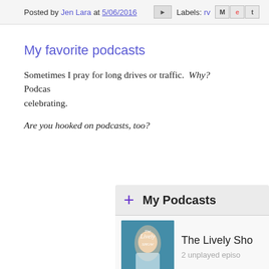Posted by Jen Lara at 5/06/2016    Labels: rv
My favorite podcasts
Sometimes I pray for long drives or traffic.  Why?  Podcasts. celebrating.
Are you hooked on podcasts, too?
[Figure (screenshot): My Podcasts widget showing The Lively Show with 2 unplayed episodes and the beginning of an ELISE GETS... listing]
The Lively Show — 2 unplayed episodes